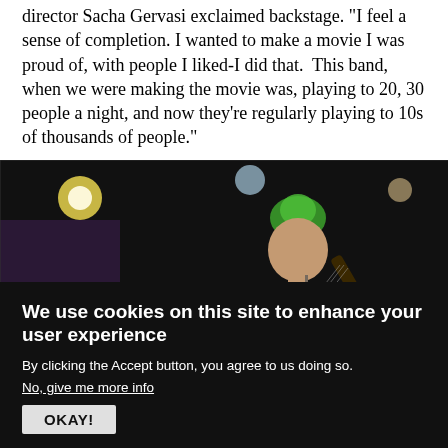director Sacha Gervasi exclaimed backstage. "I feel a sense of completion. I wanted to make a movie I was proud of, with people I liked-I did that. This band, when we were making the movie was, playing to 20, 30 people a night, and now they're regularly playing to 10s of thousands of people."
[Figure (photo): A guitarist with green-highlighted hair performing on stage, wearing a dark green t-shirt, playing a dark electric guitar. Drum kit visible in background on a dark stage with stage lighting.]
From Sacha Gervasi's Anvil! The Story of Anvil.
We use cookies on this site to enhance your user experience
By clicking the Accept button, you agree to us doing so.
No, give me more info
OKAY!